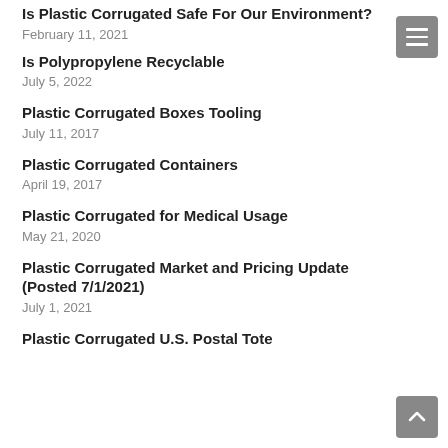Is Plastic Corrugated Safe For Our Environment?
February 11, 2021
Is Polypropylene Recyclable
July 5, 2022
Plastic Corrugated Boxes Tooling
July 11, 2017
Plastic Corrugated Containers
April 19, 2017
Plastic Corrugated for Medical Usage
May 21, 2020
Plastic Corrugated Market and Pricing Update (Posted 7/1/2021)
July 1, 2021
Plastic Corrugated U.S. Postal Tote